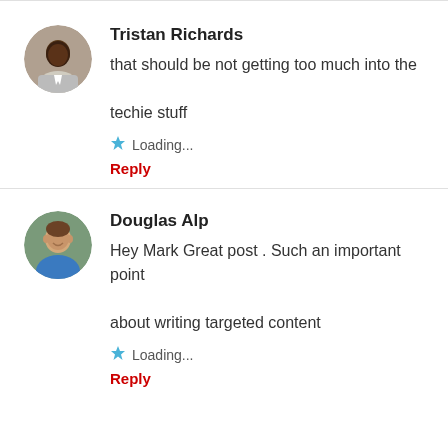[Figure (photo): Avatar of Tristan Richards, a person with dark skin]
Tristan Richards
that should be not getting too much into the techie stuff
Loading...
Reply
[Figure (photo): Avatar of Douglas Alp, a man with short hair wearing a blue shirt]
Douglas Alp
Hey Mark Great post . Such an important point about writing targeted content
Loading...
Reply